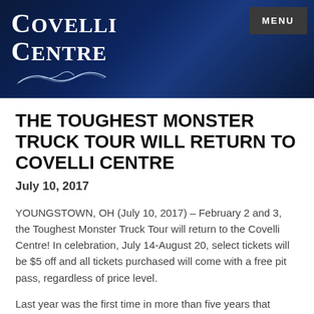[Figure (logo): Covelli Centre logo with white serif text on dark blue gradient background, with decorative swirl beneath, and a MENU button in top right corner]
THE TOUGHEST MONSTER TRUCK TOUR WILL RETURN TO COVELLI CENTRE
July 10, 2017
YOUNGSTOWN, OH (July 10, 2017) – February 2 and 3, the Toughest Monster Truck Tour will return to the Covelli Centre! In celebration, July 14-August 20, select tickets will be $5 off and all tickets purchased will come with a free pit pass, regardless of price level.
Last year was the first time in more than five years that Bigfoot did not win the Tour Championship. That title went to Snake Bite, who made a huge comeback after several years